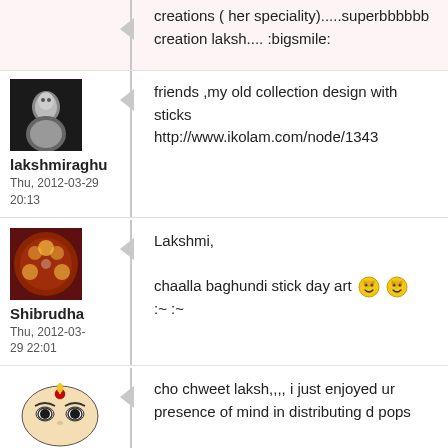creations ( her speciality).....superbbbbbb creation laksh.... :bigsmile:
[Figure (photo): Avatar photo of lakshmiraghu - black and white child photo]
lakshmiraghu
Thu, 2012-03-29 20:13
friends ,my old collection design with sticks http://www.ikolam.com/node/1343
[Figure (photo): Avatar of Shibrudha - circular decorative design in red/orange]
Shibrudha
Thu, 2012-03-29 22:01
Lakshmi,

chaalla baghundi stick day art :~ :~
[Figure (illustration): Avatar of another user - stylized Durgai face illustration]
cho chweet laksh,,,, i just enjoyed ur presence of mind in distributing d pops